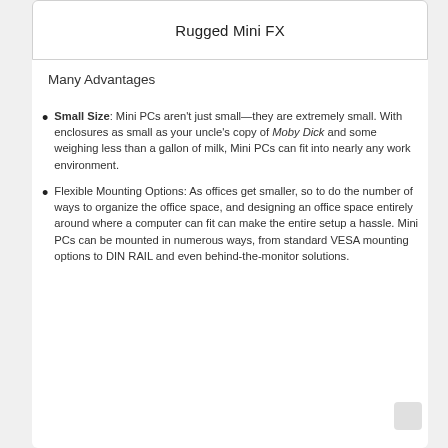Rugged Mini FX
Many Advantages
Small Size: Mini PCs aren't just small—they are extremely small. With enclosures as small as your uncle's copy of Moby Dick and some weighing less than a gallon of milk, Mini PCs can fit into nearly any work environment.
Flexible Mounting Options: As offices get smaller, so to do the number of ways to organize the office space, and designing an office space entirely around where a computer can fit can make the entire setup a hassle. Mini PCs can be mounted in numerous ways, from standard VESA mounting options to DIN RAIL and even behind-the-monitor solutions.